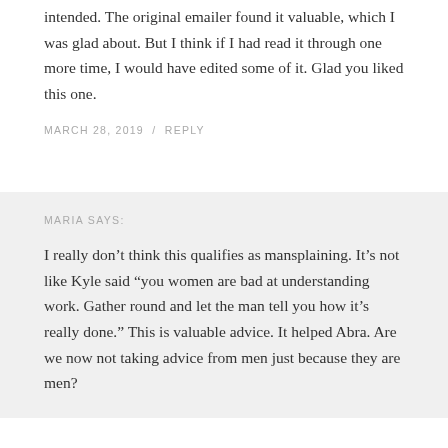intended. The original emailer found it valuable, which I was glad about. But I think if I had read it through one more time, I would have edited some of it. Glad you liked this one.
MARCH 28, 2019 / REPLY
MARIA SAYS:
I really don’t think this qualifies as mansplaining. It’s not like Kyle said “you women are bad at understanding work. Gather round and let the man tell you how it’s really done.” This is valuable advice. It helped Abra. Are we now not taking advice from men just because they are men?